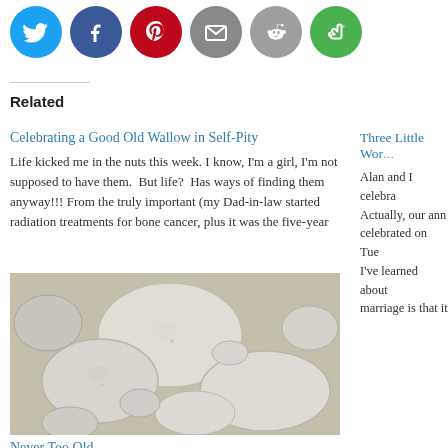[Figure (other): Row of social media sharing icon circles: Twitter (blue), Facebook (dark blue), Pinterest (red), Email (gray), Reddit (gray), Stumbleupon (green)]
Related
Celebrating a Good Old Wallow in Self-Pity
Life kicked me in the nuts this week. I know, I'm a girl, I'm not supposed to have them.  But life?  Has ways of finding them anyway!!! From the truly important (my Dad-in-law started radiation treatments for bone cancer, plus it was the five-year
Three Little Wor
Alan and I celebra… Actually, our ann… celebrated on Tue… I've learned about… marriage is that it
[Figure (photo): Close-up photograph of smooth white and gray pebbles/stones resting on sandy surface]
Never Too Old